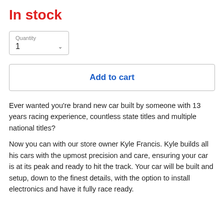In stock
Quantity
1
Add to cart
Ever wanted you're brand new car built by someone with 13 years racing experience, countless state titles and multiple national titles?
Now you can with our store owner Kyle Francis. Kyle builds all his cars with the upmost precision and care, ensuring your car is at its peak and ready to hit the track. Your car will be built and setup, down to the finest details, with the option to install electronics and have it fully race ready.